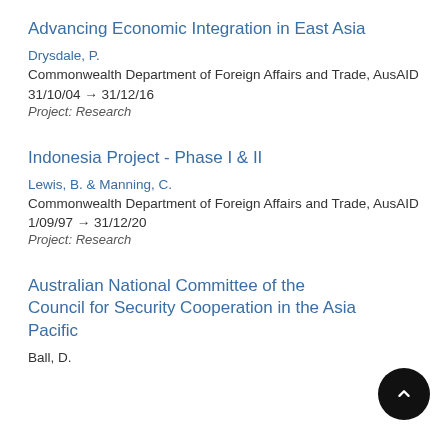Advancing Economic Integration in East Asia
Drysdale, P.
Commonwealth Department of Foreign Affairs and Trade, AusAID
31/10/04 → 31/12/16
Project: Research
Indonesia Project - Phase I & II
Lewis, B. & Manning, C.
Commonwealth Department of Foreign Affairs and Trade, AusAID
1/09/97 → 31/12/20
Project: Research
Australian National Committee of the Council for Security Cooperation in the Asia Pacific
Ball, D.